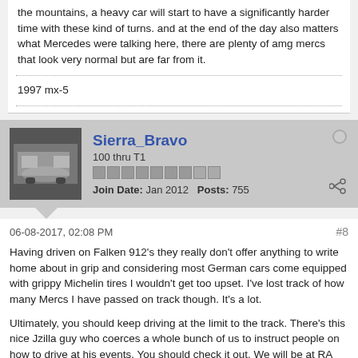the mountains, a heavy car will start to have a significantly harder time with these kind of turns. and at the end of the day also matters what Mercedes were talking here, there are plenty of amg mercs that look very normal but are far from it.
1997 mx-5
Sierra_Bravo
100 thru T1
Join Date: Jan 2012   Posts: 755
06-08-2017, 02:08 PM
#8
Having driven on Falken 912's they really don't offer anything to write home about in grip and considering most German cars come equipped with grippy Michelin tires I wouldn't get too upset. I've lost track of how many Mercs I have passed on track though. It's a lot.
Ultimately, you should keep driving at the limit to the track. There's this nice Jzilla guy who coerces a whole bunch of us to instruct people on how to drive at his events. You should check it out. We will be at RA next Friday, June 16, and there are plenty of people who would be happy to take you for ride.